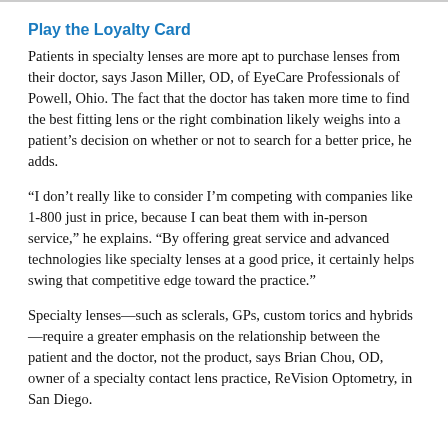Play the Loyalty Card
Patients in specialty lenses are more apt to purchase lenses from their doctor, says Jason Miller, OD, of EyeCare Professionals of Powell, Ohio. The fact that the doctor has taken more time to find the best fitting lens or the right combination likely weighs into a patient's decision on whether or not to search for a better price, he adds.
“I don’t really like to consider I’m competing with companies like 1-800 just in price, because I can beat them with in-person service,” he explains. “By offering great service and advanced technologies like specialty lenses at a good price, it certainly helps swing that competitive edge toward the practice.”
Specialty lenses—such as sclerals, GPs, custom torics and hybrids—require a greater emphasis on the relationship between the patient and the doctor, not the product, says Brian Chou, OD, owner of a specialty contact lens practice, ReVision Optometry, in San Diego.